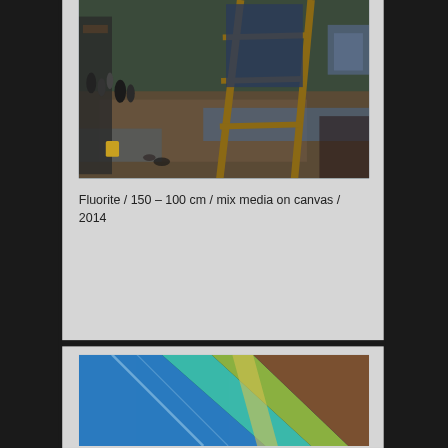[Figure (photo): Artist studio interior with wooden easel/ladder, art supplies, paint-stained floor with rugs, shelves with bottles and containers]
Fluorite / 150 – 100 cm / mix media on canvas / 2014
[Figure (photo): Abstract painting with colorful diagonal stripes of yellow, red, pink, white, purple — partially visible on right edge]
Ultravis... 2014
[Figure (photo): Abstract painting with blue, teal, green, brown diagonal streaks]
[Figure (photo): Partial view of a brownish-red abstract artwork on right edge]